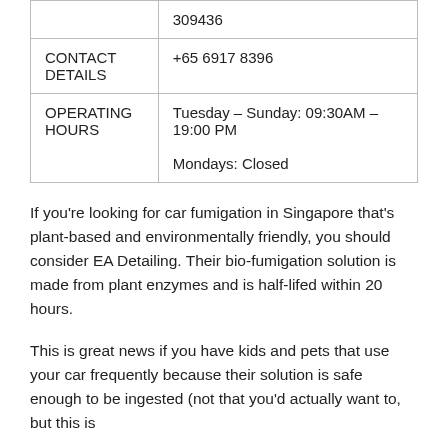|  | 309436 |
| CONTACT DETAILS | +65 6917 8396 |
| OPERATING HOURS | Tuesday – Sunday: 09:30AM – 19:00 PM

Mondays: Closed |
If you're looking for car fumigation in Singapore that's plant-based and environmentally friendly, you should consider EA Detailing. Their bio-fumigation solution is made from plant enzymes and is half-lifed within 20 hours.
This is great news if you have kids and pets that use your car frequently because their solution is safe enough to be ingested (not that you'd actually want to, but this is